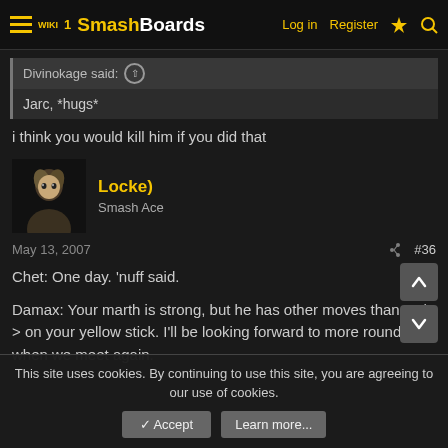SmashBoards | Log in  Register
Divinokage said: ↑
Jarc, *hugs*
i think you would kill him if you did that
Locke)
Smash Ace
May 13, 2007  #36
Chet: One day. 'nuff said.

Damax: Your marth is strong, but he has other moves than <- / -> on your yellow stick. I'll be looking forward to more rounds when we meet again.
This site uses cookies. By continuing to use this site, you are agreeing to our use of cookies.